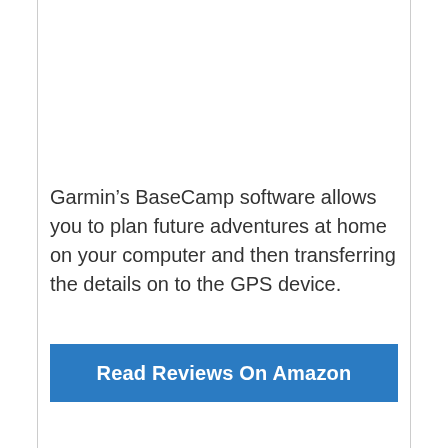Garmin’s BaseCamp software allows you to plan future adventures at home on your computer and then transferring the details on to the GPS device.
Read Reviews On Amazon